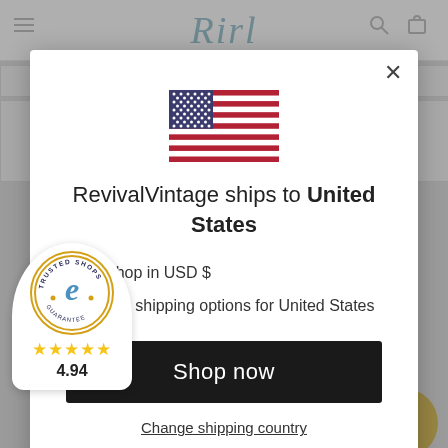[Figure (screenshot): Website background showing header with cursive logo and navigation elements, partially visible behind modal overlay]
[Figure (infographic): Modal dialog popup: US flag icon at top, title 'RevivalVintage ships to United States', bullet list with 'Shop in USD $' and 'Get shipping options for United States', black 'Shop now' button, and 'Change shipping country' underlined link. Close X button in top right.]
[Figure (logo): Trusted Shops Guarantee badge: circular logo with 'e' letter, gold stars rating, score 4.94]
[Figure (illustration): Two gold 'sale' circular badges partially visible at bottom of page]